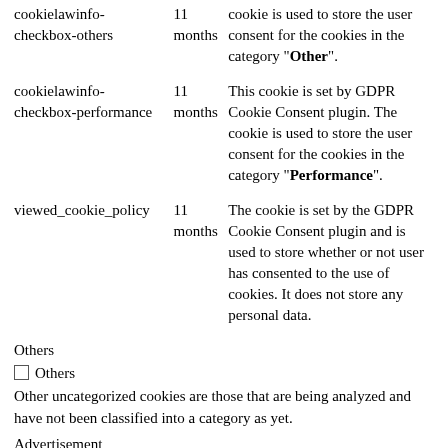| Cookie | Duration | Description |
| --- | --- | --- |
| cookielawinfo-checkbox-others | 11 months | cookie is used to store the user consent for the cookies in the category "Other". |
| cookielawinfo-checkbox-performance | 11 months | This cookie is set by GDPR Cookie Consent plugin. The cookie is used to store the user consent for the cookies in the category "Performance". |
| viewed_cookie_policy | 11 months | The cookie is set by the GDPR Cookie Consent plugin and is used to store whether or not user has consented to the use of cookies. It does not store any personal data. |
Others
Others
Other uncategorized cookies are those that are being analyzed and have not been classified into a category as yet.
Advertisement
Advertisement
Advertisement cookies are used to provide visitors with relevant ads and marketing campaigns. These cookies track visitors across websites and collect information to provide customized ads.
Analytics